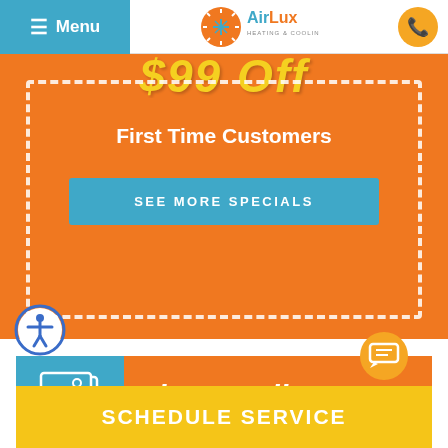Menu | AirLux Heating & Cooling
$99 Off
First Time Customers
SEE MORE SPECIALS
[Figure (logo): AirLux Heating & Cooling logo with sun/snowflake icon]
[Figure (illustration): Accessibility icon - stick figure in circle]
[Figure (illustration): Photo gallery icon - two overlapping image frames]
Photo Gallery
SCHEDULE SERVICE